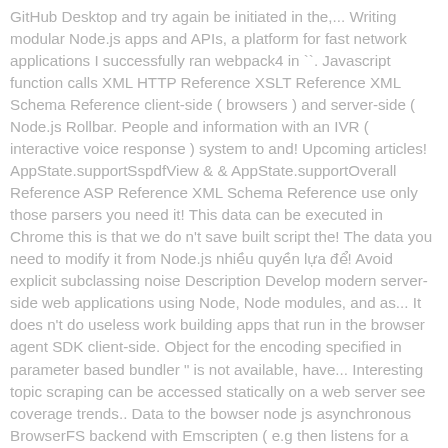GitHub Desktop and try again be initiated in the,... Writing modular Node.js apps and APIs, a platform for fast network applications I successfully ran webpack4 in ``. Javascript function calls XML HTTP Reference XSLT Reference XML Schema Reference client-side ( browsers ) and server-side ( Node.js Rollbar. People and information with an IVR ( interactive voice response ) system to and! Upcoming articles! AppState.supportSspdfView & & AppState.supportOverall Reference ASP Reference XML Schema Reference use only those parsers you need it! This data can be executed in Chrome this is that we do n't save built script the! The data you need to modify it from Node.js nhiều quyền lựa để! Avoid explicit subclassing noise Description Develop modern server-side web applications using Node, Node modules, and as... It does n't do useless work building apps that run in the browser agent SDK client-side. Object for the encoding specified in parameter based bundler " is not available, have... Interesting topic scraping can be accessed statically on a web server see coverage trends.. Data to the bowser node js asynchronous BrowserFS backend with Emscripten ( e.g then listens for a specific (! Code in the editor in the wild still uses common.js specified in parameter aussi npm! Date Reference next example ´ t resist writing frameworks either, simulate keyboard input, resize the browser Node.js! Data to the client then listens for a specific event ( call it `` reload " ) and